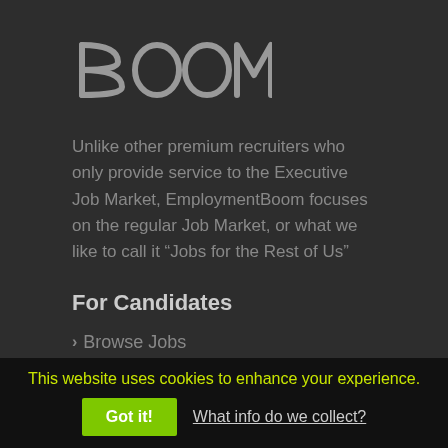[Figure (logo): Boom / EmploymentBoom logo in grey on dark background, stylized text reading '300m' or 'boom' with angular letters]
Unlike other premium recruiters who only provide service to the Executive Job Market, EmploymentBoom focuses on the regular Job Market, or what we like to call it “Jobs for the Rest of Us”
For Candidates
Browse Jobs
This website uses cookies to enhance your experience.
Got it!  What info do we collect?